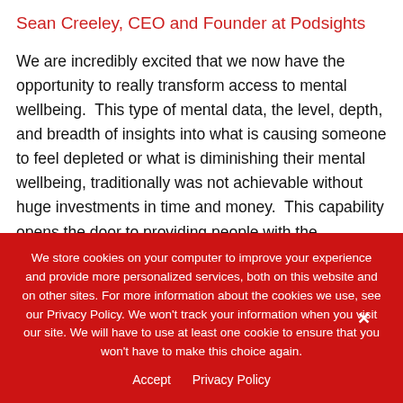Sean Creeley, CEO and Founder at Podsights
We are incredibly excited that we now have the opportunity to really transform access to mental wellbeing.  This type of mental data, the level, depth, and breadth of insights into what is causing someone to feel depleted or what is diminishing their mental wellbeing, traditionally was not achievable without huge investments in time and money.  This capability opens the door to providing people with the necessary information to make the best decisions, speed up the pace of change, and unlock even more value from
We store cookies on your computer to improve your experience and provide more personalized services, both on this website and on other sites. For more information about the cookies we use, see our Privacy Policy. We won't track your information when you visit our site. We will have to use at least one cookie to ensure that you won't have to make this choice again.
Accept   Privacy Policy